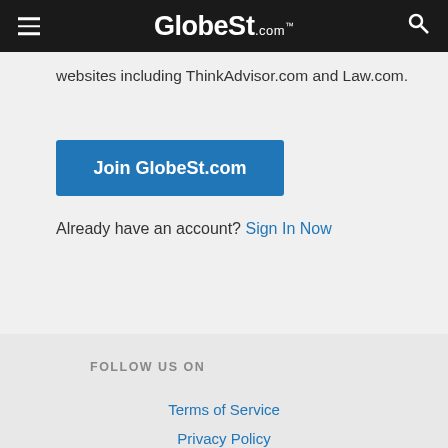GlobeSt.com
websites including ThinkAdvisor.com and Law.com.
Join GlobeSt.com
Already have an account? Sign In Now
FOLLOW US ON
Terms of Service
Privacy Policy